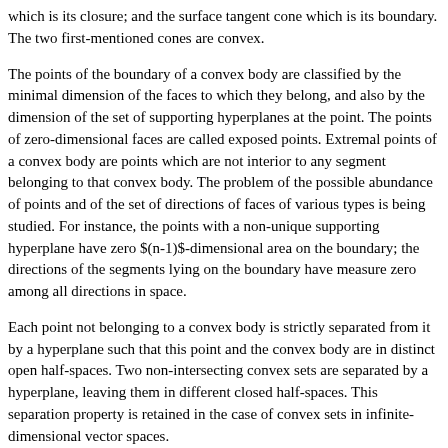which is its closure; and the surface tangent cone which is its boundary. The two first-mentioned cones are convex.
The points of the boundary of a convex body are classified by the minimal dimension of the faces to which they belong, and also by the dimension of the set of supporting hyperplanes at the point. The points of zero-dimensional faces are called exposed points. Extremal points of a convex body are points which are not interior to any segment belonging to that convex body. The problem of the possible abundance of points and of the set of directions of faces of various types is being studied. For instance, the points with a non-unique supporting hyperplane have zero $(n-1)$-dimensional area on the boundary; the directions of the segments lying on the boundary have measure zero among all directions in space.
Each point not belonging to a convex body is strictly separated from it by a hyperplane such that this point and the convex body are in distinct open half-spaces. Two non-intersecting convex sets are separated by a hyperplane, leaving them in different closed half-spaces. This separation property is retained in the case of convex sets in infinite-dimensional vector spaces.
A convex body $F$ has associated with it its support function $H\colon E^n \rightarrow E^1$, defined by the equation $H(u)=\sup\